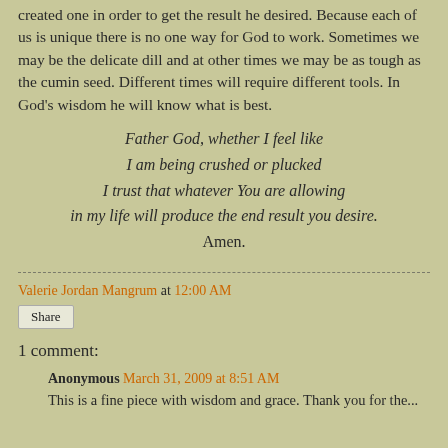created one in order to get the result he desired. Because each of us is unique there is no one way for God to work. Sometimes we may be the delicate dill and at other times we may be as tough as the cumin seed. Different times will require different tools. In God's wisdom he will know what is best.
Father God, whether I feel like
I am being crushed or plucked
I trust that whatever You are allowing
in my life will produce the end result you desire.
Amen.
Valerie Jordan Mangrum at 12:00 AM
Share
1 comment:
Anonymous March 31, 2009 at 8:51 AM
This is a fine piece with wisdom and grace. Thank you for the ...